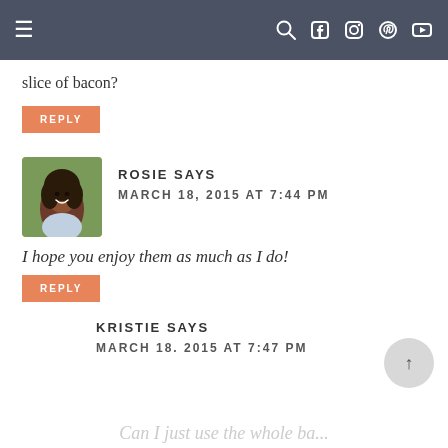≡  [search] [facebook] [instagram] [pinterest] [youtube]
slice of bacon?
REPLY
ROSIE SAYS
MARCH 18, 2015 AT 7:44 PM
I hope you enjoy them as much as I do!
REPLY
KRISTIE SAYS
MARCH 18. 2015 AT 7:47 PM
Can I just use the whole ba...